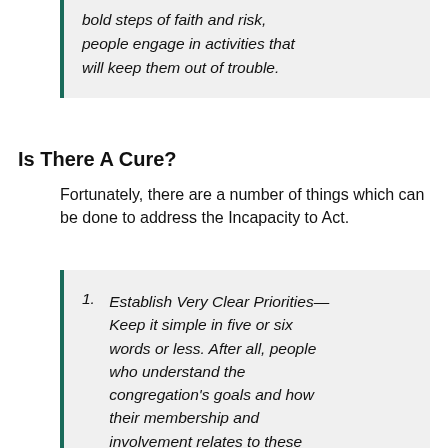bold steps of faith and risk, people engage in activities that will keep them out of trouble.
Is There A Cure?
Fortunately, there are a number of things which can be done to address the Incapacity to Act.
Establish Very Clear Priorities—Keep it simple in five or six words or less. After all, people who understand the congregation's goals and how their membership and involvement relates to these